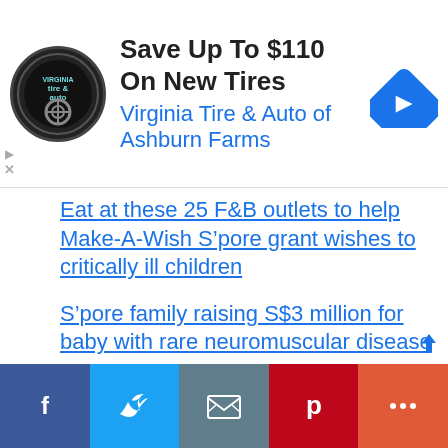[Figure (screenshot): Advertisement banner for Virginia Tire & Auto of Ashburn Farms showing logo, text 'Save Up To $110 On New Tires', and a blue road sign icon]
Eat at these 25 F&B outlets to help Make-A-Wish S’pore grant wishes to critically ill children
S’pore family raising S$3 million for baby with rare neuromuscular disease
Microsoft Edge Is Now More Bloated Than Google Chrome
Why Is Everything a Subscription Now?